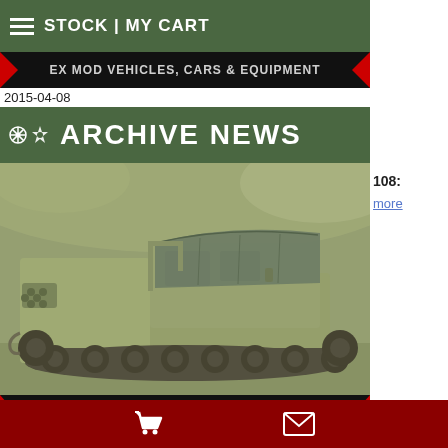STOCK | MY CART
[Figure (screenshot): Partial top banner showing EX MOD VEHICLES, CARS & EQUIPMENT in red/black bar (clipped at top)]
2015-04-08
ARCHIVE NEWS
[Figure (photo): Military tracked vehicle (M270/MLRS-type armored carrier) photographed outdoors with foliage background, olive drab coloring]
108:
more
EX MOD VEHICLES, CARS & EQUIPMENT
2015-04-02
ARCHIVE NEWS